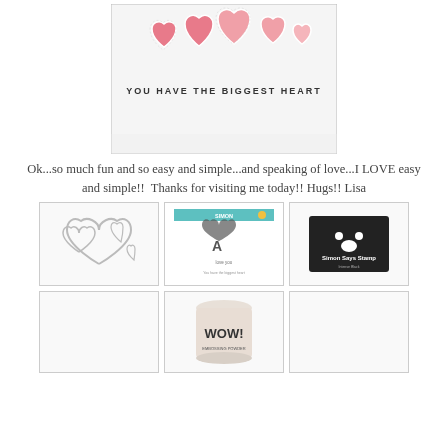[Figure (photo): A handmade greeting card showing heart die cuts in pink/red with text 'YOU HAVE THE BIGGEST HEART' in stamped lettering on white cardstock]
Ok...so much fun and so easy and simple...and speaking of love...I LOVE easy and simple!!  Thanks for visiting me today!! Hugs!! Lisa
[Figure (photo): Product image: heart die cuts set showing multiple heart outline shapes]
[Figure (photo): Product image: Simon Says Stamp clear stamp set with hearts and figures]
[Figure (photo): Product image: Simon Says Stamp ink pad in black with paw prints logo]
[Figure (photo): Product image: WOW! embossing powder container in white/cream]
[Figure (photo): Empty product slot (bottom right)]